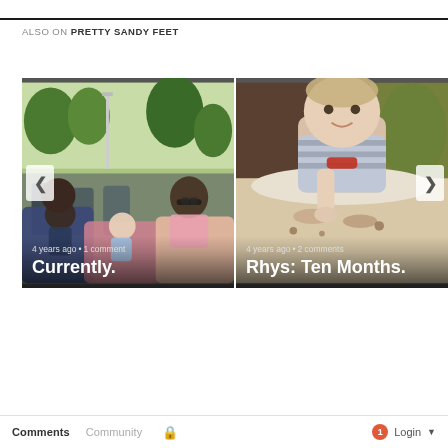ALSO ON PRETTY SANDY FEET
[Figure (photo): Photo of two women and two babies sitting outdoors at a park event, with trees and crowd in background. Card shows: '4 years ago • 1 comment' and title 'Currently.']
[Figure (photo): Photo of a baby in a high chair eating food, possibly spaghetti. Card shows: '4 years ago • 2 comments' and title 'Rhys: Ten Months.']
Comments   Community   🔒   1   Login ▼